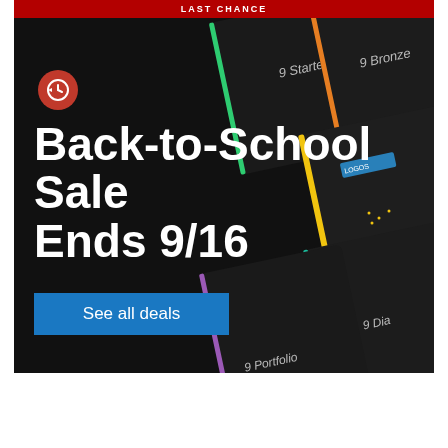LAST CHANCE
[Figure (illustration): Dark promotional banner showing multiple Logos Bible software product box art cards (9 Starter, 9 Bronze, 9 Gold, 9 Portfolio, 9 Diamond) arranged diagonally on a dark background with colored vertical stripes]
Back-to-School Sale Ends 9/16
See all deals